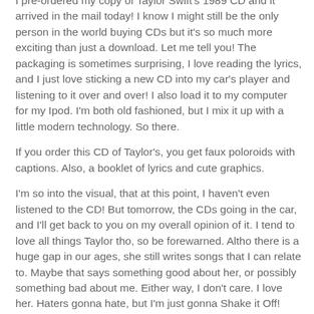I pre-ordered my copy of Taylor Swift's 1989 CD and it arrived in the mail today!  I know I might still be the only person in the world buying CDs but it's so much more exciting than just a download.  Let me tell you!  The packaging is sometimes surprising, I love reading the lyrics, and I just love sticking a new CD into my car's player and listening to it over and over! I also load it to my computer for my Ipod.  I'm both old fashioned, but I mix it up with a little modern technology.  So there.
If you order this CD of Taylor's, you get faux poloroids with captions.  Also, a booklet of lyrics and cute graphics.
I'm so into the visual, that at this point, I haven't even listened to the CD!  But tomorrow, the CDs going in the car, and I'll get back to you on my overall opinion of it.  I tend to love all things Taylor tho, so be forewarned.  Altho there is a huge gap in our ages, she still writes songs that I can relate to.  Maybe that says something good about her, or possibly something bad about me.  Either way, I don't care.  I love her.  Haters gonna hate, but I'm just gonna Shake it Off!
I love this cute video.  And altho I found the song annoying at...